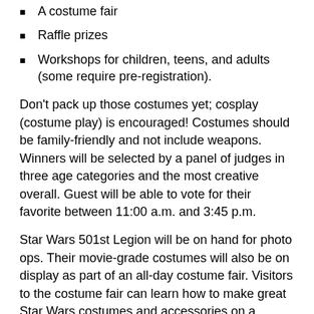A costume fair
Raffle prizes
Workshops for children, teens, and adults (some require pre-registration).
Don't pack up those costumes yet; cosplay (costume play) is encouraged! Costumes should be family-friendly and not include weapons. Winners will be selected by a panel of judges in three age categories and the most creative overall. Guest will be able to vote for their favorite between 11:00 a.m. and 3:45 p.m.
Star Wars 501st Legion will be on hand for photo ops. Their movie-grade costumes will also be on display as part of an all-day costume fair. Visitors to the costume fair can learn how to make great Star Wars costumes and accessories on a budget.